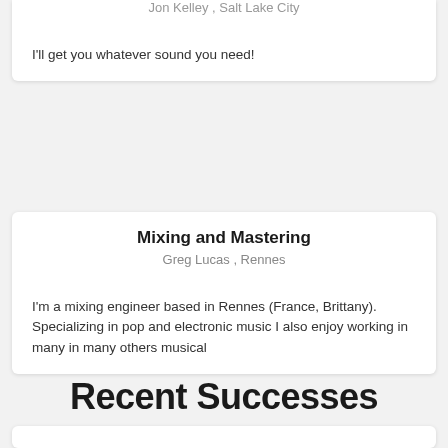Jon Kelley , Salt Lake City
I'll get you whatever sound you need!
Mixing and Mastering
Greg Lucas , Rennes
I'm a mixing engineer based in Rennes (France, Brittany). Specializing in pop and electronic music I also enjoy working in many in many others musical
Recent Successes